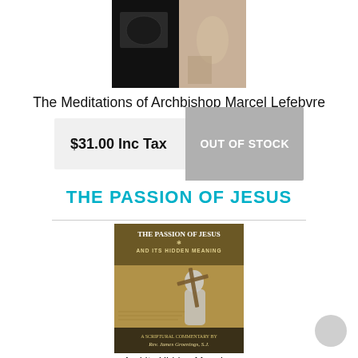[Figure (photo): Top portion of a book cover image for The Meditations of Archbishop Marcel Lefebvre, showing partial dark and light image panels]
The Meditations of Archbishop Marcel Lefebvre
$31.00  Inc Tax
OUT OF STOCK
THE PASSION OF JESUS
[Figure (photo): Book cover of 'The Passion of Jesus and Its Hidden Meaning' — A Scriptural Commentary by Rev. James Groenings, S.J., showing a statue of Jesus carrying a cross against a parchment background with Latin text]
And Its Hidden Meaning